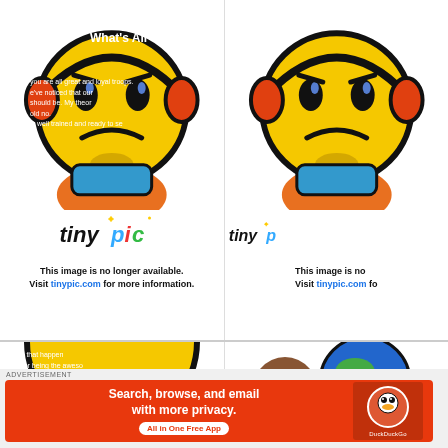[Figure (screenshot): Two TinyPic 'image no longer available' placeholder panels side by side. Each shows an angry yellow emoji face with headphones, a TinyPic logo, and the text 'This image is no longer available. Visit tinypic.com for more information.' Overlaid faded white text references 'Global Defenders', 'open soon', 'What's All', 'you are all great and loyal troops', 'and every', 've noticed that our', 'and', 'should be. My theor', 'ore that', 'old no', 'is well trained and ready to se', 'e sure that happen', 'anks for being the aweso'. Bottom section shows partial bottom emoji images. A DuckDuckGo advertisement banner is at the bottom.]
This image is no longer available. Visit tinypic.com for more information.
This image is no longer available. Visit tinypic.com fo
ADVERTISEMENT
Search, browse, and email with more privacy. All in One Free App